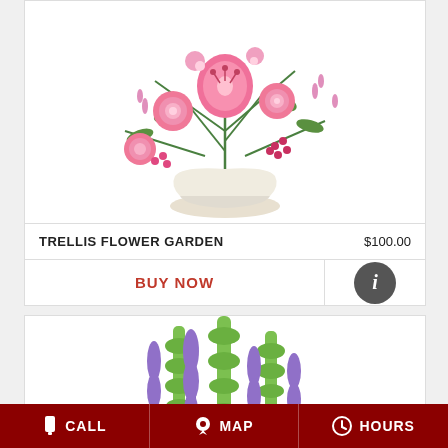[Figure (photo): Pink floral arrangement with lilies and roses in a white vase, top of page (partially cropped at top)]
TRELLIS FLOWER GARDEN    $100.00
BUY NOW
[Figure (infographic): Info (i) circle button]
[Figure (photo): Mixed floral arrangement with purple lavender, yellow spider mums, and pink carnations]
CALL   MAP   HOURS